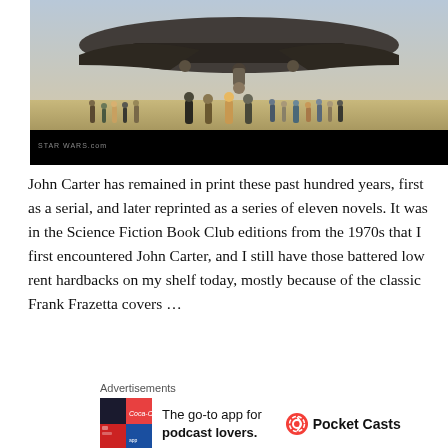[Figure (photo): A Star Wars scene showing a large spacecraft hovering over a sandy desert surface with many figures standing underneath it. The bottom portion of the image has a black bar with 'STAR WARS.com' watermark in small text at the lower left.]
John Carter has remained in print these past hundred years, first as a serial, and later reprinted as a series of eleven novels. It was in the Science Fiction Book Club editions from the 1970s that I first encountered John Carter, and I still have those battered low rent hardbacks on my shelf today, mostly because of the classic Frank Frazetta covers …
Advertisements
[Figure (logo): Pocket Casts advertisement showing a colorful four-quadrant app icon (dark top-left, teal/Coca-Cola top-right, red bottom-left, blue bottom-right with app imagery) alongside text 'The go-to app for podcast lovers.' and the Pocket Casts logo with name.]